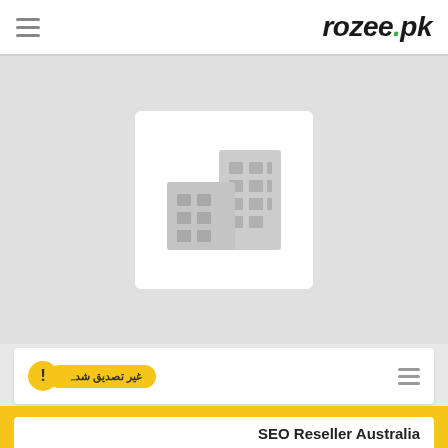rozee.pk
[Figure (illustration): Company placeholder logo: two grey office buildings silhouette on white background inside a rounded rectangle, set against a light grey background.]
! غیر تصدیق شدہ
50 پیروکار | ہماری سروی کریں
Report Company
SEO Reseller Australia